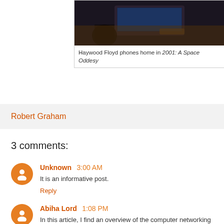[Figure (photo): Dark photo of a person using a laptop computer, scene from a movie]
Haywood Floyd phones home in 2001: A Space Oddesy
Robert Graham
3 comments:
Unknown  3:00 AM
It is an informative post.
Reply
Abiha Lord  1:08 PM
In this article, I find an overview of the computer networking